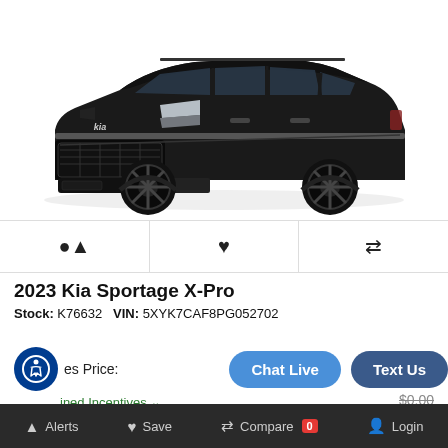[Figure (photo): Black 2023 Kia Sportage X-Pro SUV shown from front 3/4 angle on white background]
[Figure (infographic): Icon bar with bell (alerts), heart (save), and compare arrows icons]
2023 Kia Sportage X-Pro
Stock: K76632   VIN: 5XYK7CAF8PG052702
Sales Price:
Chat Live
Text Us
Combined Incentives
$0.00
Oakes Price:
$39,784
Alerts   Save   Compare 0   Login